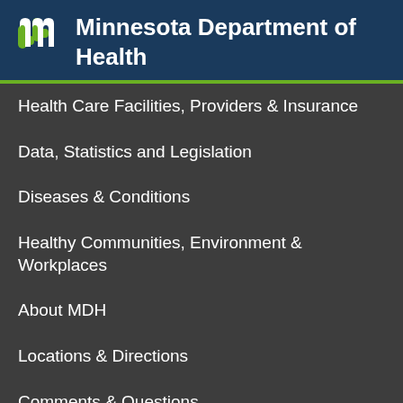Minnesota Department of Health
Health Care Facilities, Providers & Insurance
Data, Statistics and Legislation
Diseases & Conditions
Healthy Communities, Environment & Workplaces
About MDH
Locations & Directions
Comments & Questions
Privacy Statement & Disclaimer
Equal Opportunity